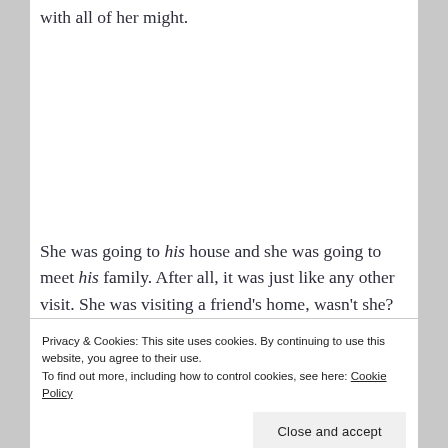with all of her might.
She was going to his house and she was going to meet his family. After all, it was just like any other visit. She was visiting a friend's home, wasn't she?
Privacy & Cookies: This site uses cookies. By continuing to use this website, you agree to their use.
To find out more, including how to control cookies, see here: Cookie Policy